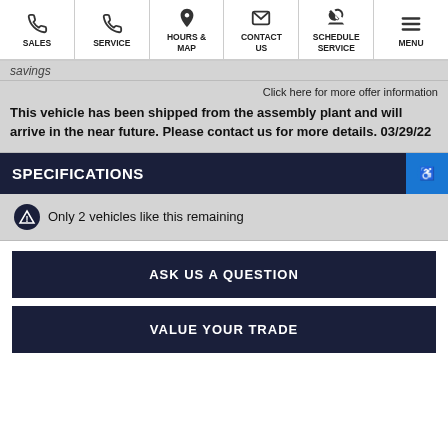SALES | SERVICE | HOURS & MAP | CONTACT US | SCHEDULE SERVICE | MENU
savings ...
Click here for more offer information
This vehicle has been shipped from the assembly plant and will arrive in the near future. Please contact us for more details. 03/29/22
SPECIFICATIONS
Only 2 vehicles like this remaining
ASK US A QUESTION
VALUE YOUR TRADE